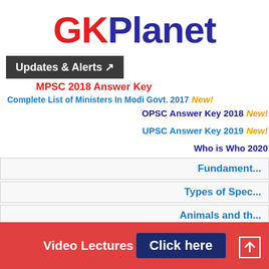GKPlanet
Updates & Alerts ↗
OPSC Answer Key 2018 New! | MPSC 2018 Answer Key | UPSC Answer Key 2019 New! | Complete List of Ministers In Modi Govt. 2017 New! | Who is Who 2020
Fundament...
Types of Spec...
Animals and th...
≡ MENU
Home » gxxk » Sorbiquets/Nicknames of Indian Cities & States
Video Lectures  Click here